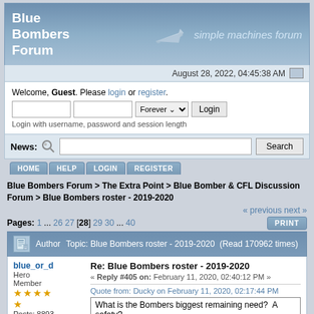Blue Bombers Forum
August 28, 2022, 04:45:38 AM
Welcome, Guest. Please login or register. Login with username, password and session length
News:
HOME  HELP  LOGIN  REGISTER
Blue Bombers Forum > The Extra Point > Blue Bomber & CFL Discussion Forum > Blue Bombers roster - 2019-2020
« previous next »
Pages: 1 ... 26 27 [28] 29 30 ... 40
Author  Topic: Blue Bombers roster - 2019-2020  (Read 170962 times)
blue_or_d
Hero Member
Posts: 8893
Re: Blue Bombers roster - 2019-2020
« Reply #405 on: February 11, 2020, 02:40:12 PM »
Quote from: Ducky on February 11, 2020, 02:17:44 PM
What is the Bombers biggest remaining need?  A safety?